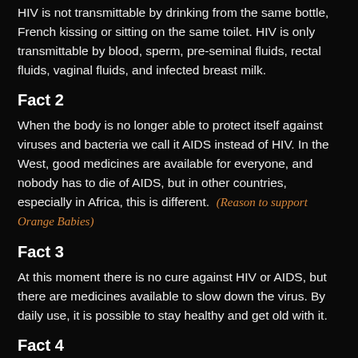HIV is not transmittable by drinking from the same bottle, French kissing or sitting on the same toilet. HIV is only transmittable by blood, sperm, pre-seminal fluids, rectal fluids, vaginal fluids, and infected breast milk.
Fact 2
When the body is no longer able to protect itself against viruses and bacteria we call it AIDS instead of HIV. In the West, good medicines are available for everyone, and nobody has to die of AIDS, but in other countries, especially in Africa, this is different.  (Reason to support Orange Babies)
Fact 3
At this moment there is no cure against HIV or AIDS, but there are medicines available to slow down the virus. By daily use, it is possible to stay healthy and get old with it.
Fact 4